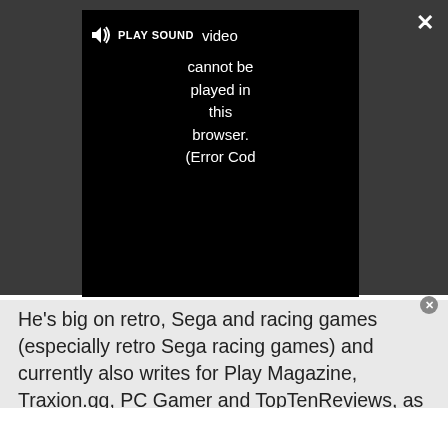[Figure (screenshot): Video player overlay on a dark grey background showing a black video player with PLAY SOUND label and speaker icon, displaying error message: 'Video cannot be played in this browser. (Error Cod' with a close X button top right and expand arrows bottom right.]
He's big on retro, Sega and racing games (especially retro Sega racing games) and currently also writes for Play Magazine, Traxion.gg, PC Gamer and TopTenReviews, as well as running his own YouTube channel. Having learned to love all platforms equally after Sega left the hardware industry (sniff), his favourite games include Christmas NiGHTS into Dreams, Zelda BotW, Sea